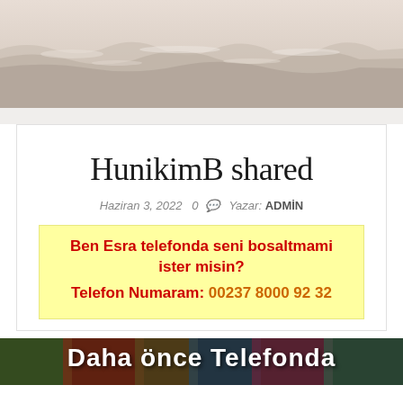[Figure (photo): Sepia-toned ocean waves header image]
HunikimB shared
Haziran 3, 2022  0   Yazar: ADMİN
Ben Esra telefonda seni bosaltmami ister misin?
Telefon Numaram: 00237 8000 92 32
[Figure (photo): Bottom strip image with text: Daha önce Telefonda]